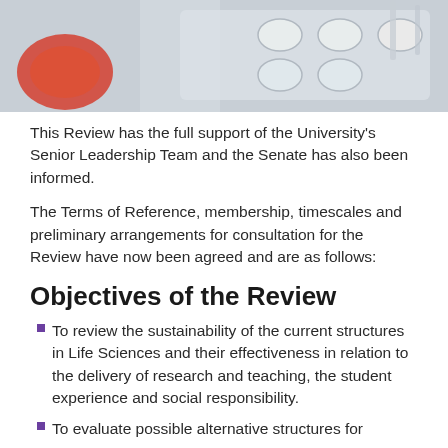[Figure (photo): Close-up photo of laboratory equipment including sample containers, pipettes, and test materials on a white background.]
This Review has the full support of the University's Senior Leadership Team and the Senate has also been informed.
The Terms of Reference, membership, timescales and preliminary arrangements for consultation for the Review have now been agreed and are as follows:
Objectives of the Review
To review the sustainability of the current structures in Life Sciences and their effectiveness in relation to the delivery of research and teaching, the student experience and social responsibility.
To evaluate possible alternative structures for the organisation of Life Sciences and the